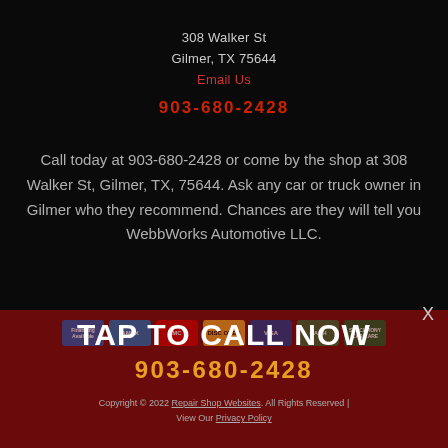308 Walker St
Gilmer, TX 75644
Email Us
903-680-2428
Call today at 903-680-2428 or come by the shop at 308 Walker St, Gilmer, TX, 75644. Ask any car or truck owner in Gilmer who they recommend. Chances are they will tell you WebbWorks Automotive LLC.
TAP TO CALL NOW
903-680-2428
Copyright © 2022 Repair Shop Websites. All Rights Reserved | View Our Privacy Policy